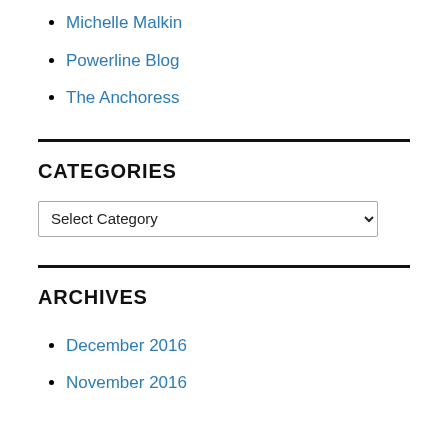Michelle Malkin
Powerline Blog
The Anchoress
CATEGORIES
[Figure (other): A dropdown selector labeled 'Select Category']
ARCHIVES
December 2016
November 2016